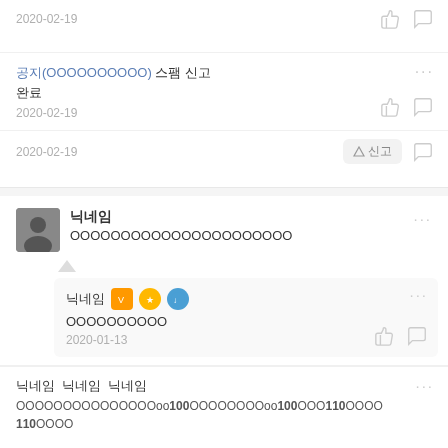2020-02-19
공지(OOOOOOOOOO) 스팸 신고
완료
2020-02-19
2020-02-19
닉네임
OOOOOOOOOOOOOOOOOOOOOO
닉네임 [badge][badge][badge]
OOOOOOOOOO
2020-01-13
닉네임  닉네임  닉네임
OOOOOOOOOOOOOOOOOoo100OOOOOOOOoo100OOO110OOOO 110OOOO